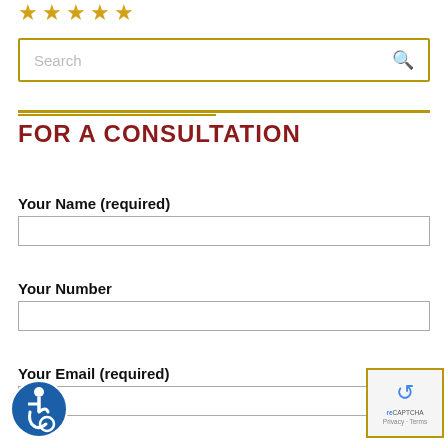[Figure (other): Five gold star rating icons at the top left]
[Figure (other): Search box with gold border and search icon]
FOR A CONSULTATION
Your Name (required)
Your Number
Your Email (required)
[Figure (other): Accessibility icon badge (blue circle with wheelchair user symbol)]
[Figure (other): reCAPTCHA badge with Privacy and Terms links]